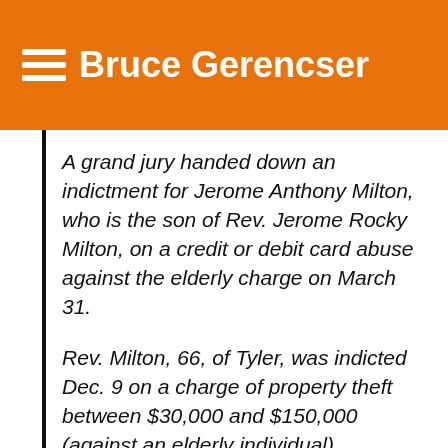Bruce Gerencser
A grand jury handed down an indictment for Jerome Anthony Milton, who is the son of Rev. Jerome Rocky Milton, on a credit or debit card abuse against the elderly charge on March 31.
Rev. Milton, 66, of Tyler, was indicted Dec. 9 on a charge of property theft between $30,000 and $150,000 (against an elderly individual), according to judicial records.
Police documents show Rev.